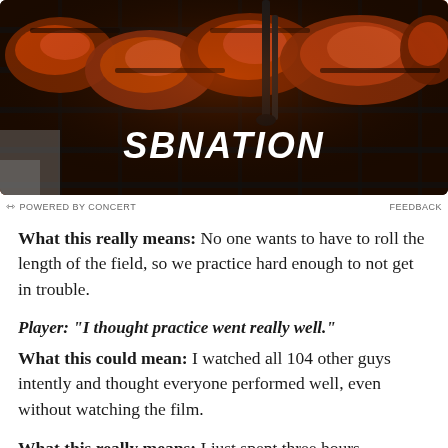[Figure (photo): BBQ ribs on a grill with tongs, dark smoky background, SBNation logo overlaid in white italic bold text]
POWERED BY CONCERT   FEEDBACK
What this really means: No one wants to have to roll the length of the field, so we practice hard enough to not get in trouble.
Player: "I thought practice went really well."
What this could mean: I watched all 104 other guys intently and thought everyone performed well, even without watching the film.
What this really means: I just spent three hours